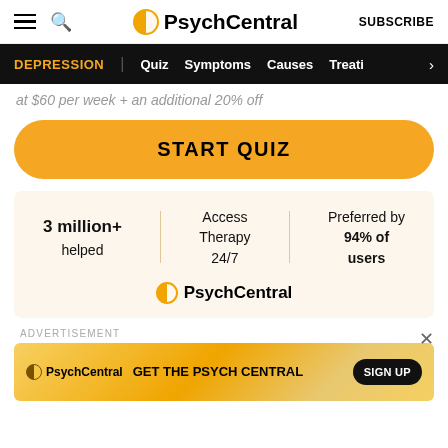PsychCentral  SUBSCRIBE
DEPRESSION | Quiz | Symptoms | Causes | Treati >
at $60 per week + an additional 20% off
START QUIZ
3 million+ helped | Access Therapy 24/7 | Preferred by 94% of users
[Figure (logo): PsychCentral logo with orange half-circle icon]
ADVERTISEMENT
[Figure (infographic): PsychCentral advertisement banner: GET THE PSYCH CENTRAL with SIGN UP button]